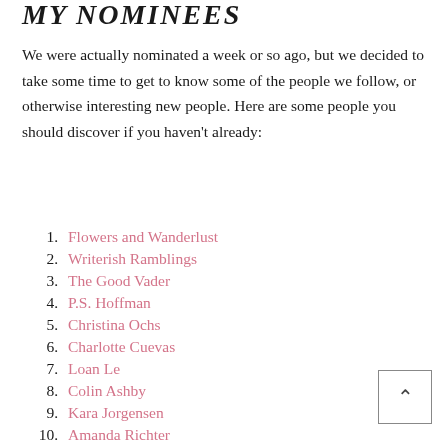MY NOMINEES
We were actually nominated a week or so ago, but we decided to take some time to get to know some of the people we follow, or otherwise interesting new people. Here are some people you should discover if you haven't already:
1. Flowers and Wanderlust
2. Writerish Ramblings
3. The Good Vader
4. P.S. Hoffman
5. Christina Ochs
6. Charlotte Cuevas
7. Loan Le
8. Colin Ashby
9. Kara Jorgensen
10. Amanda Richter
11. Don't Be "a Writer"
12. Lisa Voisin